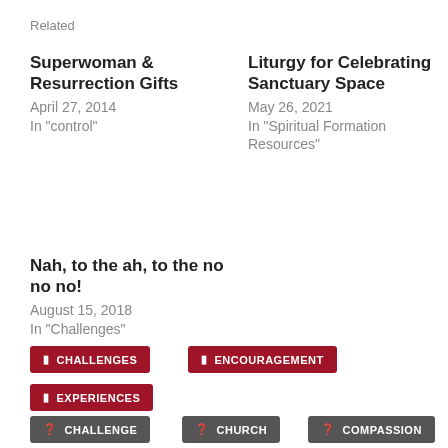Related
Superwoman & Resurrection Gifts
April 27, 2014
In "control"
Liturgy for Celebrating Sanctuary Space
May 26, 2021
In "Spiritual Formation Resources"
Nah, to the ah, to the no no no!
August 15, 2018
In "Challenges"
CHALLENGES
ENCOURAGEMENT
EXPERIENCES
CHALLENGE
CHURCH
COMPASSION
EASTER
EMOTIONS
EXPERIENCE
GRACE
GRIEF
HOLY WEEK
JESUS
JOURNEY
MINISTRY
STORY